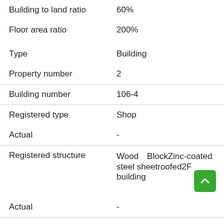| Field | Value |
| --- | --- |
| Building to land ratio | 60% |
| Floor area ratio | 200% |
| Type | Building |
| Property number | 2 |
| Building number | 106-4 |
| Registered type | Shop |
| Actual | - |
| Registered structure | Wood　BlockZinc-coated steel sheetroofed2F building |
| Actual | - |
| Registered floor area | 1F 89.10sq meters,2F 388.39sq meters,
1F 89.10sq meters,2F 387.58sq... |